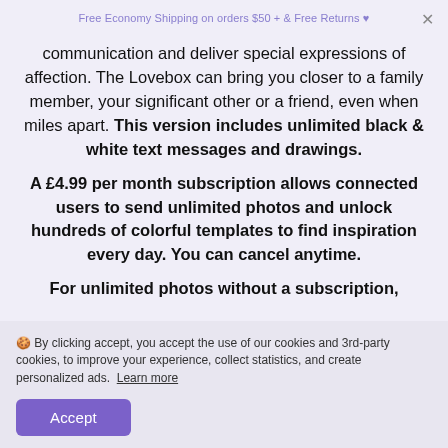Free Economy Shipping on orders $50 + & Free Returns ♥
communication and deliver special expressions of affection. The Lovebox can bring you closer to a family member, your significant other or a friend, even when miles apart. This version includes unlimited black & white text messages and drawings.

A £4.99 per month subscription allows connected users to send unlimited photos and unlock hundreds of colorful templates to find inspiration every day. You can cancel anytime.

For unlimited photos without a subscription,
🍪 By clicking accept, you accept the use of our cookies and 3rd-party cookies, to improve your experience, collect statistics, and create personalized ads.  Learn more
Accept